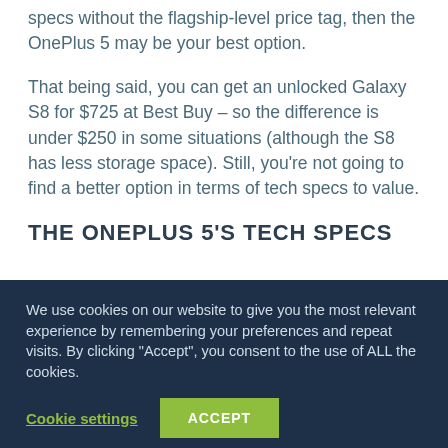specs without the flagship-level price tag, then the OnePlus 5 may be your best option.
That being said, you can get an unlocked Galaxy S8 for $725 at Best Buy – so the difference is under $250 in some situations (although the S8 has less storage space). Still, you're not going to find a better option in terms of tech specs to value.
THE ONEPLUS 5'S TECH SPECS
We use cookies on our website to give you the most relevant experience by remembering your preferences and repeat visits. By clicking "Accept", you consent to the use of ALL the cookies.
Cookie settings  ACCEPT